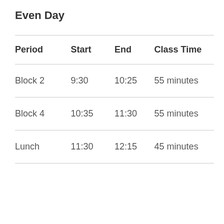Even Day
| Period | Start | End | Class Time |
| --- | --- | --- | --- |
| Block 2 | 9:30 | 10:25 | 55 minutes |
| Block 4 | 10:35 | 11:30 | 55 minutes |
| Lunch | 11:30 | 12:15 | 45 minutes |